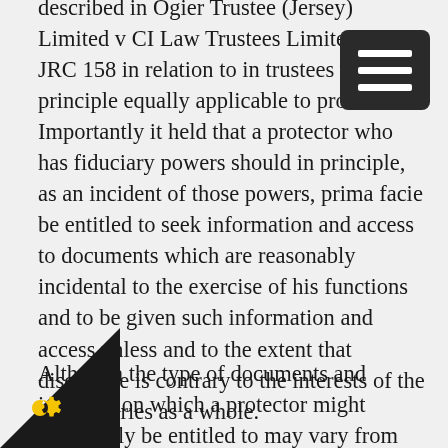described in Ogier Trustee (Jersey) Limited v CI Law Trustees Limited [2006] JRC 158 in relation to in trustees was in principle equally applicable to protectors. Importantly it held that a protector who has fiduciary powers should in principle, as an incident of those powers, prima facie be entitled to seek information and access to documents which are reasonably incidental to the exercise of his functions and to be given such information and access unless and to the extent that disclosure is contrary to the interests of the beneficiaries as a whole.
Although the type of documents and information which a protector might reasonably be entitled to may vary from case to case, we would expect it to include a copy of the trust instrument, any ancillary instruments relating to the Trust and any letters of wishes. The